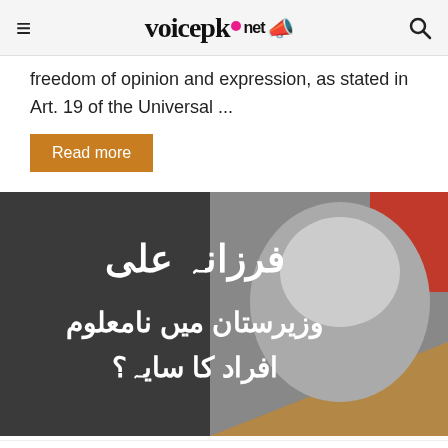voicepk.net
freedom of opinion and expression, as stated in Art. 19 of the Universal ...
Read more
[Figure (photo): Promotional image for article about Farzana Ali with Urdu text: فرزانہ علی — وزیرستان میں نامعلوم افراد کا سایہ؟ alongside a black-and-white photo of a woman]
وہ خبر جو مین سٹریم میڈیا نہیں دکھاتا□□
Voice Pk — Modified date: June 1, 2020